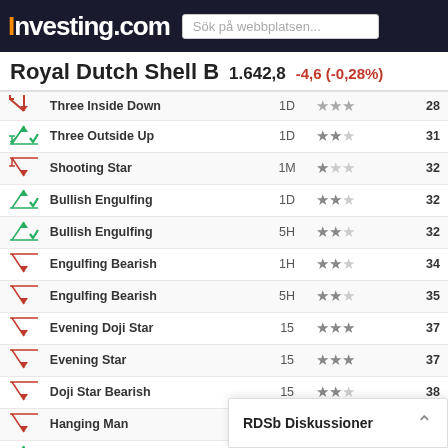Investing.com
Royal Dutch Shell B  1.642,8  -4,6 (-0,28%)
|  | Pattern | Timeframe | Reliability | Candles Ago |
| --- | --- | --- | --- | --- |
| ↑ | Three Inside Down | 1D | ★★★ | 28 |
| ↑ | Three Outside Up | 1D | ★★★ | 31 |
| ↘ | Shooting Star | 1M | ★ | 32 |
| ↑ | Bullish Engulfing | 1D | ★★ | 32 |
| ↑ | Bullish Engulfing | 5H | ★★ | 32 |
| ↘ | Engulfing Bearish | 1H | ★★ | 34 |
| ↘ | Engulfing Bearish | 5H | ★★ | 35 |
| ↘ | Evening Doji Star | 15 | ★★★ | 37 |
| ↘ | Evening Star | 15 | ★★★ | 37 |
| ↘ | Doji Star Bearish | 15 | ★★ | 38 |
| ↘ | Hanging Man | 1W | ★ | 42 |
| ↑ | Morning Doji Star | 30 | ★★★ | 42 |
| ↑ | Three Outside Up | 1M | ★★★ | 43 |
| ↑ | Bullish doji Star | 1D | ★★ | 43 |
| ↑ | Bullish d... | ... |  |  |
| ↑ | Harami B... | ... |  |  |